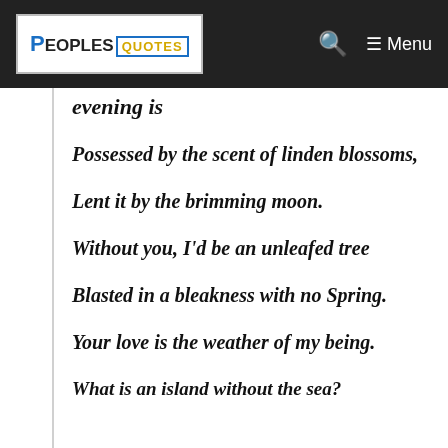PeoplesQuotes — navigation bar with search and menu
evening is
Possessed by the scent of linden blossoms,
Lent it by the brimming moon.
Without you, I'd be an unleafed tree
Blasted in a bleakness with no Spring.
Your love is the weather of my being.
What is an island without the sea?